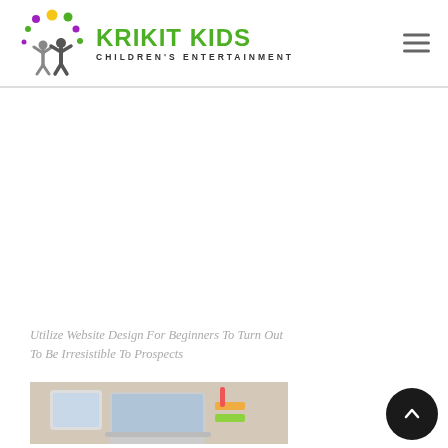[Figure (logo): Krikit Kids Children's Entertainment logo with colorful circles and grey figures of children with arms raised]
KRIKIT KIDS
CHILDREN'S ENTERTAINMENT
Utilize Website Design For Beginners To Turn Out To Be Irresistible To Prospects
[Figure (photo): Photo showing a laptop, tablet, and stationery on a wooden desk]